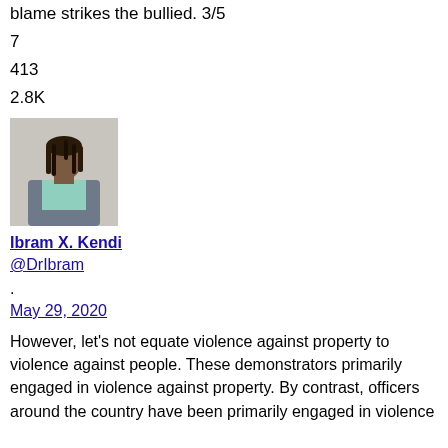blame strikes the bullied. 3/5
7
413
2.8K
[Figure (photo): Photo of Ibram X. Kendi, a man with long dreadlocks wearing a grey blazer over a light blue shirt, standing in front of a light grey background.]
Ibram X. Kendi
@DrIbram
.
May 29, 2020
However, let's not equate violence against property to violence against people. These demonstrators primarily engaged in violence against property. By contrast, officers around the country have been primarily engaged in violence